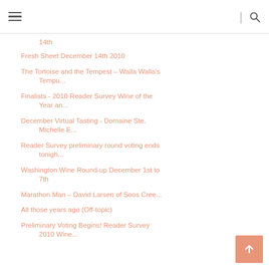Navigation header with hamburger menu and search icon
14th
Fresh Sheet December 14th 2010
The Tortoise and the Tempest – Walla Walla's Tempu...
Finalists - 2010 Reader Survey Wine of the Year an...
December Virtual Tasting - Domaine Ste. Michelle E...
Reader Survey preliminary round voting ends tonigh...
Washington Wine Round-up December 1st to 7th
Marathon Man – David Larsen of Soos Cree...
All those years ago (Off-topic)
Preliminary Voting Begins! Reader Survey 2010 Wine...